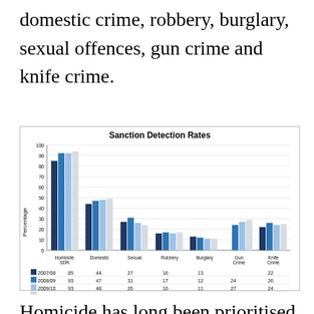domestic crime, robbery, burglary, sexual offences, gun crime and knife crime.
[Figure (grouped-bar-chart): Sanction Detection Rates]
Homicide has long been prioritised by the police and the justice system, for obvious